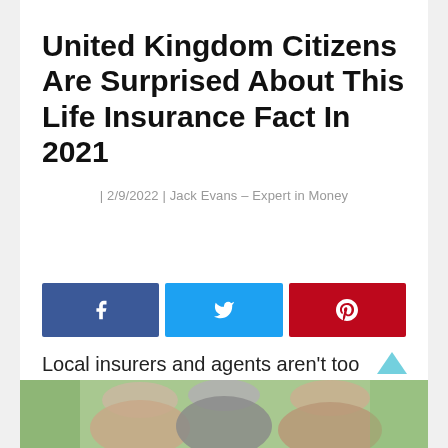United Kingdom Citizens Are Surprised About This Life Insurance Fact In 2021
| 2/9/2022 | Jack Evans – Expert in Money
[Figure (infographic): Social share buttons: Facebook (blue), Twitter (light blue), Pinterest (red), each with respective icons]
Local insurers and agents aren't too thrilled about this and have been trying to keep it a secret... BUT UK citizens couldn't be happier
[Figure (photo): Partial photo of elderly couple smiling, visible at the bottom of the page]